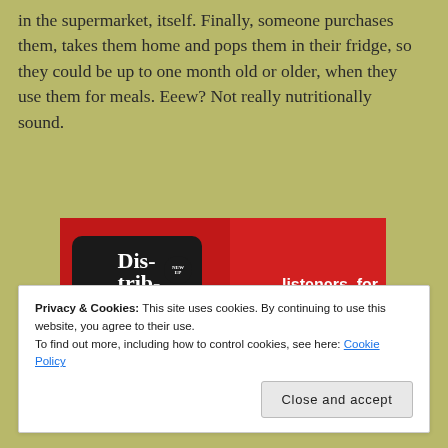in the supermarket, itself. Finally, someone purchases them, takes them home and pops them in their fridge, so they could be up to one month old or older, when they use them for meals. Eeew? Not really nutritionally sound.
[Figure (illustration): Advertisement for a podcast app showing a smartphone with 'Distributed' podcast on screen against a red background. Text reads 'listeners, for listeners.' with a 'Download now' button.]
Privacy & Cookies: This site uses cookies. By continuing to use this website, you agree to their use.
To find out more, including how to control cookies, see here: Cookie Policy
Close and accept